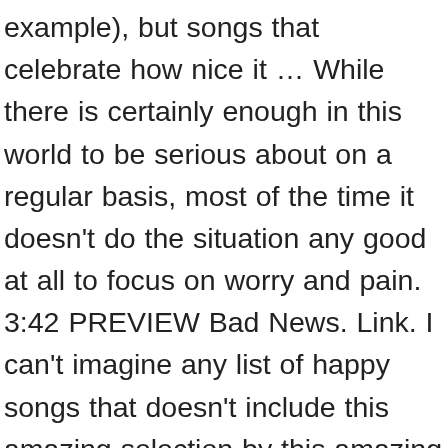example), but songs that celebrate how nice it … While there is certainly enough in this world to be serious about on a regular basis, most of the time it doesn't do the situation any good at all to focus on worry and pain. 3:42 PREVIEW Bad News. Link. I can't imagine any list of happy songs that doesn't include this amazing selection by this amazing artist. Paul Young. Smiling Through the Pain By Kari Johnston; Published: July 2008; Pain, pain go away! 3:20 ... 5 SONGS, 17 MINUTES. It was one of two new songs written for the Broadway adaptation of Morissette's 1995 album, Jagged Little Pill, and later released as the second single from her ninth studio album, Such Pretty Forks in the Road, on February 21, 2020. hoping that ill make it through . Through all the rain and pain, you got to keep your sense of humor and smile for me now. Tears falling down my